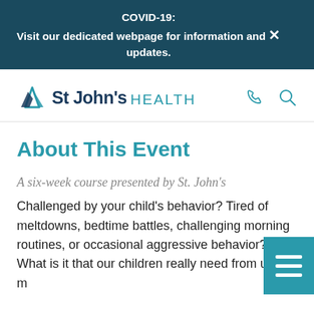COVID-19:
Visit our dedicated webpage for information and updates.
[Figure (logo): St. John's Health logo with mountain icon and teal HEALTH text, plus phone and search icons]
About This Event
A six-week course presented by St. John's
Challenged by your child's behavior? Tired of meltdowns, bedtime battles, challenging morning routines, or occasional aggressive behavior? What is it that our children really need from us to make sense of our world?